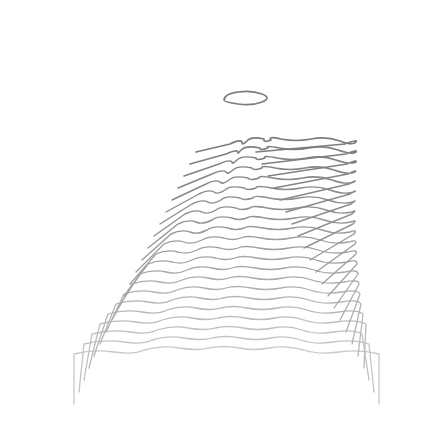[Figure (schematic): A stack of metal wire retaining clips or hair pins arranged in a perspective view, showing approximately 20 identical U-shaped wire forms with a wavy/sinusoidal center section, stacked on top of each other creating a 3D trapezoidal mass. The wires are silver/metallic gray on a white background.]